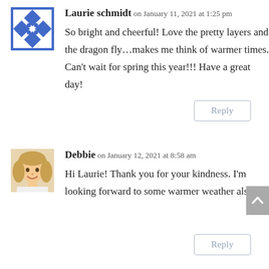[Figure (illustration): Blue and white geometric avatar for Laurie schmidt with diamond/square pattern]
Laurie schmidt on January 11, 2021 at 1:25 pm
So bright and cheerful! Love the pretty layers and the dragon fly...makes me think of warmer times. Can't wait for spring this year!!! Have a great day!
Reply
[Figure (photo): Photo of Debbie, a woman with blonde hair, smiling, white top]
Debbie on January 12, 2021 at 8:58 am
Hi Laurie! Thank you for your kindness. I'm looking forward to some warmer weather also.
Reply